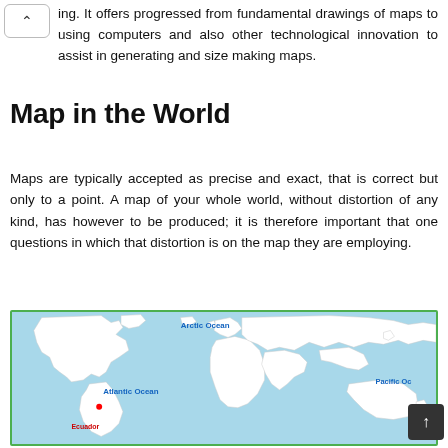ing. It offers progressed from fundamental drawings of maps to using computers and also other technological innovation to assist in generating and size making maps.
Map in the World
Maps are typically accepted as precise and exact, that is correct but only to a point. A map of your whole world, without distortion of any kind, has however to be produced; it is therefore important that one questions in which that distortion is on the map they are employing.
[Figure (map): World map with light blue oceans and white continents. Labels: Arctic Ocean (top center, blue), Atlantic Ocean (left-center, blue), Pacific Oc[ean] (right, blue), Ecuador (bottom-left with red marker dot).]